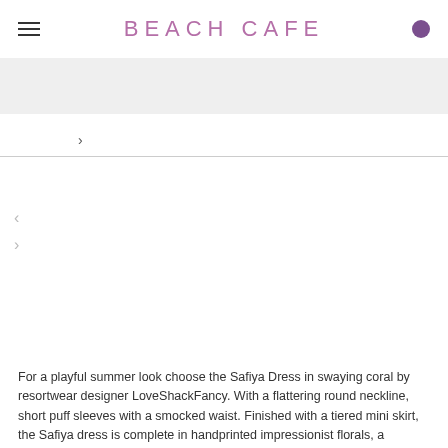BEACH CAFE
>
[Figure (photo): Product image area for a dress, shown with left and right navigation arrows on a white background]
For a playful summer look choose the Safiya Dress in swaying coral by resortwear designer LoveShackFancy. With a flattering round neckline, short puff sleeves with a smocked waist. Finished with a tiered mini skirt, the Safiya dress is complete in handprinted impressionist florals, a